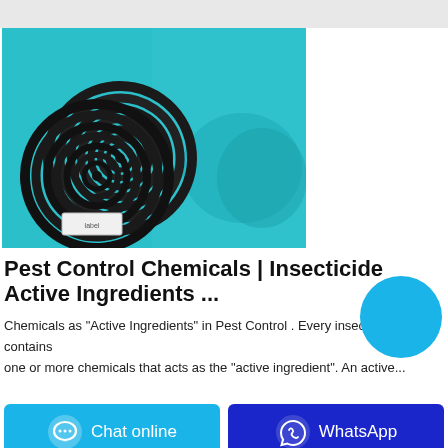[Figure (photo): Two dark spiral mosquito coils resting on a teal/turquoise surface with a small label card beneath them]
Pest Control Chemicals | Insecticide Active Ingredients ...
Chemicals as "Active Ingredients" in Pest Control . Every insecticide contains one or more chemicals that acts as the "active ingredient". An active...